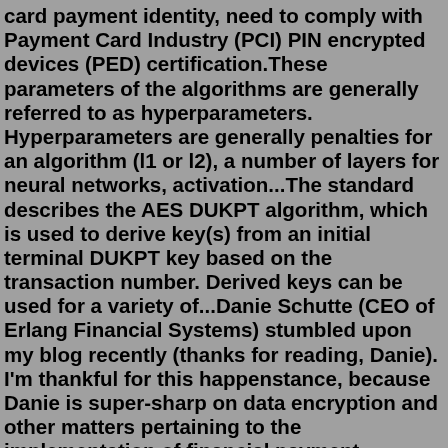card payment identity, need to comply with Payment Card Industry (PCI) PIN encrypted devices (PED) certification.These parameters of the algorithms are generally referred to as hyperparameters. Hyperparameters are generally penalties for an algorithm (l1 or l2), a number of layers for neural networks, activation...The standard describes the AES DUKPT algorithm, which is used to derive key(s) from an initial terminal DUKPT key based on the transaction number. Derived keys can be used for a variety of...Danie Schutte (CEO of Erlang Financial Systems) stumbled upon my blog recently (thanks for reading, Danie). I'm thankful for this happenstance, because Danie is super-sharp on data encryption and other matters pertaining to the implementation of financial payment systems. Danie mentioned that my post about Creating an IPEK from a given KSN and BDK would pertain specifically to situations in ...In mathematics and computer science, an algorithm (/ˈælɡərɪðəm/ (listen)) is a finite sequence of rigorous instructions, typically used to solve a class of specific